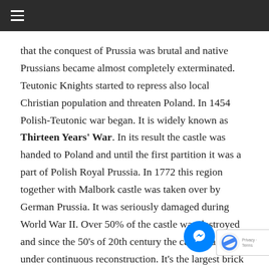≡
that the conquest of Prussia was brutal and native Prussians became almost completely exterminated. Teutonic Knights started to repress also local Christian population and threaten Poland. In 1454 Polish-Teutonic war began. It is widely known as Thirteen Years' War. In its result the castle was handed to Poland and until the first partition it was a part of Polish Royal Prussia. In 1772 this region together with Malbork castle was taken over by German Prussia. It was seriously damaged during World War II. Over 50% of the castle was destroyed and since the 50's of 20th century the castle has been under continuous reconstruction. It's the largest brick castle in the world and a masterpiece of medieval architecture